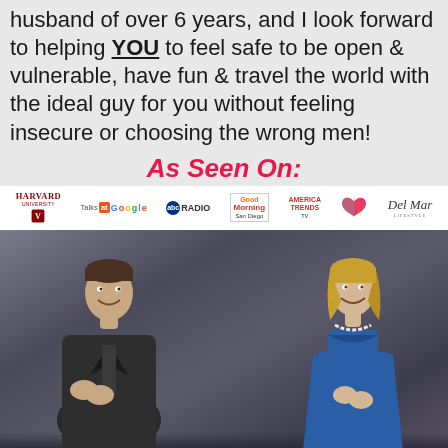husband of over 6 years, and I look forward to helping YOU to feel safe to be open & vulnerable, have fun & travel the world with the ideal guy for you without feeling insecure or choosing the wrong men!
As Seen On:
[Figure (other): Media logos bar: Harvard University, Talks at Google, ABC Radio, Good Morning San Diego, America Trends TV, broken heart logo, Del Mar Lifestyle]
[Figure (photo): Photo of a man in a dark suit jacket smiling and clapping on the left, and a woman in a blue dress smiling on the right, both on a stage with dark curtain backdrop]